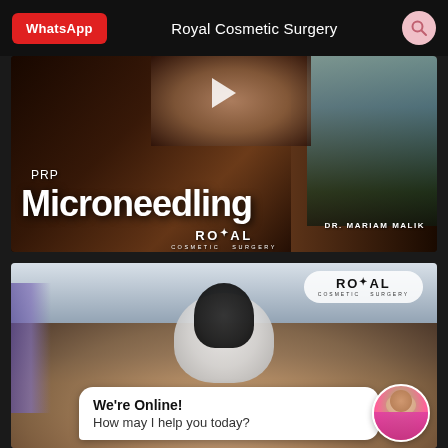WhatsApp  Royal Cosmetic Surgery
[Figure (screenshot): Video thumbnail for PRP Microneedling by Dr. Mariam Malik at Royal Cosmetic Surgery, with a play button and text overlay on dark background]
[Figure (photo): Photo of a patient undergoing a microneedling treatment with a device near the face, Royal Cosmetic Surgery logo visible, with a chat widget showing 'We're Online! How may I help you today?']
We're Online!
How may I help you today?